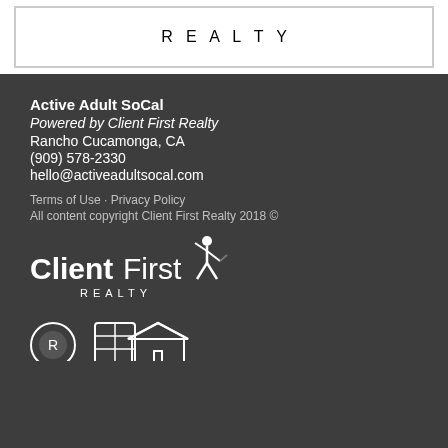[Figure (logo): Client First Realty logo in teal letters at top white section]
Active Adult SoCal
Powered by Client First Realty
Rancho Cucamonga, CA
(909) 578-2330
hello@activeadultsocal.com
Terms of Use · Privacy Policy
All content copyright Client First Realty 2018 ©
[Figure (logo): Client First Realty white logo with figure icon on dark background]
[Figure (logo): Three small logos/icons at bottom of dark footer]